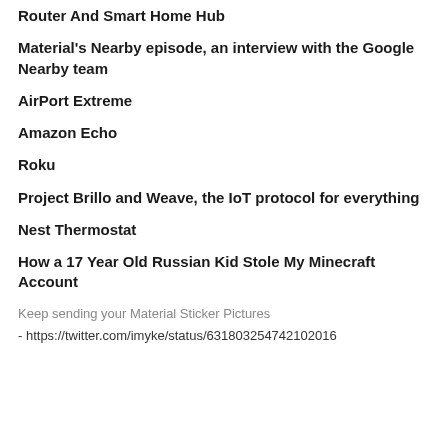Router And Smart Home Hub
Material's Nearby episode, an interview with the Google Nearby team
AirPort Extreme
Amazon Echo
Roku
Project Brillo and Weave, the IoT protocol for everything
Nest Thermostat
How a 17 Year Old Russian Kid Stole My Minecraft Account
Keep sending your Material Sticker Pictures
- https://twitter.com/imyke/status/631803254742102016